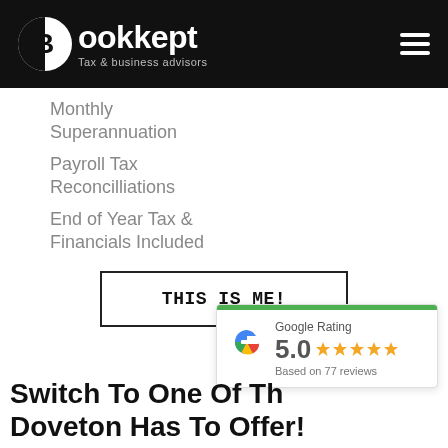[Figure (logo): Bookkept Tax & business advisors logo on black header bar with hamburger menu icon]
Monthly Superannuation
Payroll Tax Reconcilliations
End of Year Tax & Financials Included
THIS IS ME!
[Figure (other): Google Rating card showing 5.0 stars based on 77 reviews with green top bar]
Switch To One Of The Best Accountants Doveton Has To Offer!